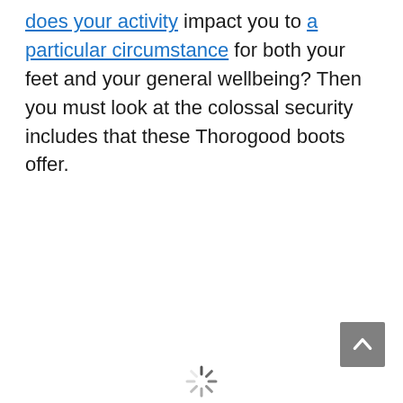[does your activity] impact you to [a particular circumstance] for both your feet and your general wellbeing? Then you must look at the colossal security includes that these Thorogood boots offer.